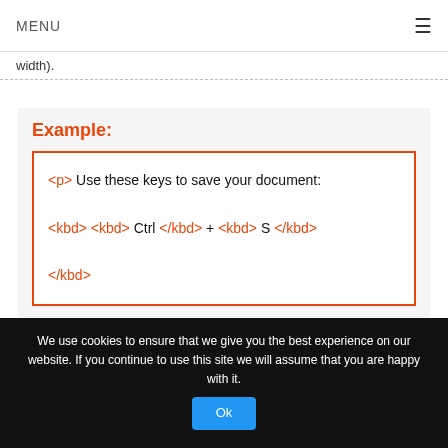MENU ≡
width).
Example:
<p> Use these keys to save your document:
<kbd> <kbd> Ctrl </kbd> + <kbd> S </kbd>
</kbd>
⧉ Try it
We use cookies to ensure that we give you the best experience on our website. If you continue to use this site we will assume that you are happy with it.
Ok